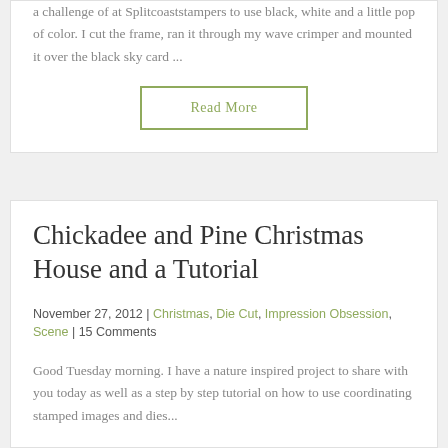a challenge of at Splitcoaststampers to use black, white and a little pop of color. I cut the frame, ran it through my wave crimper and mounted it over the black sky card ...
Read More
Chickadee and Pine Christmas House and a Tutorial
November 27, 2012 | Christmas, Die Cut, Impression Obsession, Scene | 15 Comments
Good Tuesday morning. I have a nature inspired project to share with you today as well as a step by step tutorial on how to use coordinating stamped images and dies...